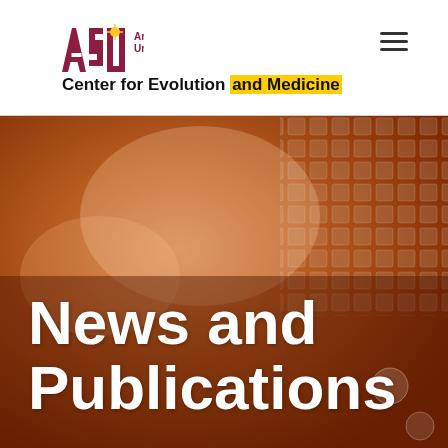[Figure (logo): Arizona State University ASU logo with sun icon and text 'Arizona State University']
Center for Evolution and Medicine
[Figure (photo): Hero banner image with orange-tinted photo of a laptop keyboard and gear shift, overlaid with large white bold text 'News and Publications']
News and Publications